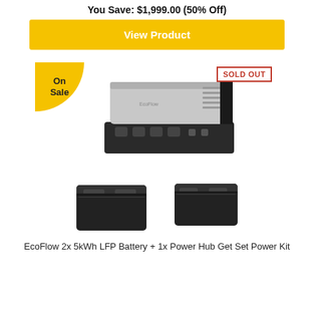You Save: $1,999.00 (50% Off)
View Product
[Figure (photo): EcoFlow Power Hub device shown with 'On Sale' badge and 'SOLD OUT' label]
[Figure (photo): Two EcoFlow 5kWh LFP Battery units side by side]
EcoFlow 2x 5kWh LFP Battery + 1x Power Hub Get Set Power Kit